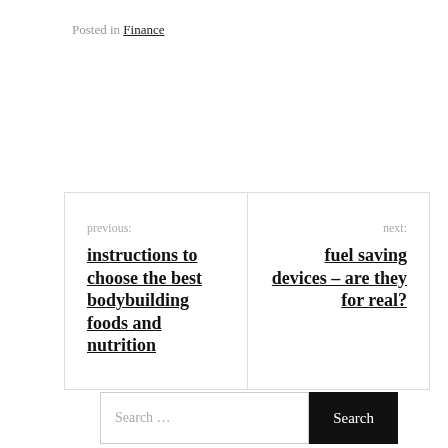Posted in Finance
previous: instructions to choose the best bodybuilding foods and nutrition
next: fuel saving devices – are they for real?
Search ...